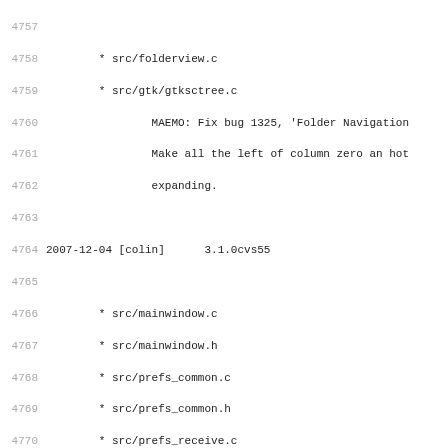Changelog / commit log entries from lines 4757 to 4788+
4758  * src/folderview.c
4759  * src/gtk/gtksctree.c
4760       MAEMO: Fix bug 1325, 'Folder Navigation
4761       Make all the left of column zero an hot
4762       expanding.
4764 2007-12-04 [colin]     3.1.0cvs55
4766  * src/mainwindow.c
4767  * src/mainwindow.h
4768  * src/prefs_common.c
4769  * src/prefs_common.h
4770  * src/prefs_receive.c
4771       MAEMO: Fix bug 1199, 'Tie into LED for
4773 2007-12-04 [wwp]      3.1.0cvs54
4775  * src/prefs_other.c
4776       Fix for bug #1419.
4778 2007-12-04 [holger]   3.1.0cvs53
4780  * src/addrduplicates.c
4781  * src/addrduplicates.h
4782       Export addressbook entry deletion
4784 2007-12-04 [colin]     3.1.0cvs52
4786  * tools/Makefile.am
4787  * tools/README.sylprint
4788  * tools/sylprint.pl